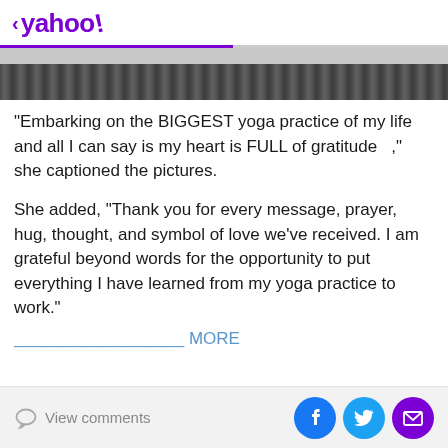< yahoo!
[Figure (photo): Partially visible outdoor city/street photo strip]
"Embarking on the BIGGEST yoga practice of my life and all I can say is my heart is FULL of gratitude   ," she captioned the pictures.
She added, "Thank you for every message, prayer, hug, thought, and symbol of love we've received. I am grateful beyond words for the opportunity to put everything I have learned from my yoga practice to work."
View comments  [Facebook] [Twitter] [Mail]